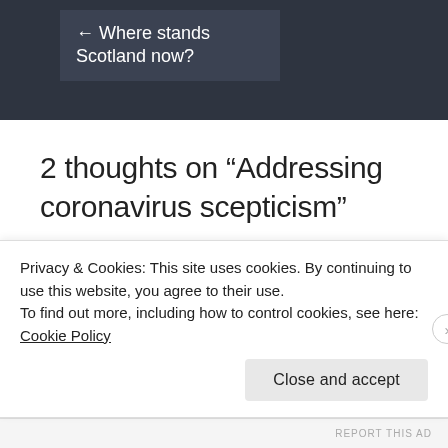← Where stands Scotland now?
2 thoughts on “Addressing coronavirus scepticism”
dorsetiww says: OCTOBER 4, 2020 AT 3:09 PM
Privacy & Cookies: This site uses cookies. By continuing to use this website, you agree to their use.
To find out more, including how to control cookies, see here: Cookie Policy
Close and accept